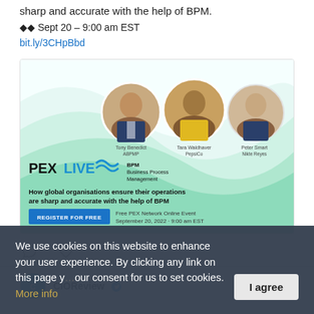sharp and accurate with the help of BPM.
◆◆ Sept 20 – 9:00 am EST
bit.ly/3CHpBbd
[Figure (infographic): PEXLIVE BPM Business Process Management event banner. Shows three circular headshot photos of speakers: Tony Benedict ABPMP, Tara Waldhaver PepsiCo, Peter Smart Nikte Reyes. Text: 'How global organisations ensure their operations are sharp and accurate with the help of BPM'. Blue 'REGISTER FOR FREE' button. 'Free PEX Network Online Event September 20, 2022 - 9:00 am EST'. Teal/green wave design background.]
Comment and like icons
CIOReview (partial, with Twitter bird icon and twitter logo)
We use cookies on this website to enhance your user experience. By clicking any link on this page you give your consent for us to set cookies. More info